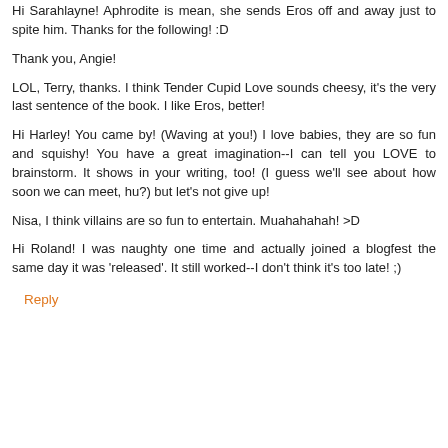Hi Sarahlayne! Aphrodite is mean, she sends Eros off and away just to spite him. Thanks for the following! :D
Thank you, Angie!
LOL, Terry, thanks. I think Tender Cupid Love sounds cheesy, it's the very last sentence of the book. I like Eros, better!
Hi Harley! You came by! (Waving at you!) I love babies, they are so fun and squishy! You have a great imagination--I can tell you LOVE to brainstorm. It shows in your writing, too! (I guess we'll see about how soon we can meet, hu?) but let's not give up!
Nisa, I think villains are so fun to entertain. Muahahahah! >D
Hi Roland! I was naughty one time and actually joined a blogfest the same day it was 'released'. It still worked--I don't think it's too late! ;)
Reply